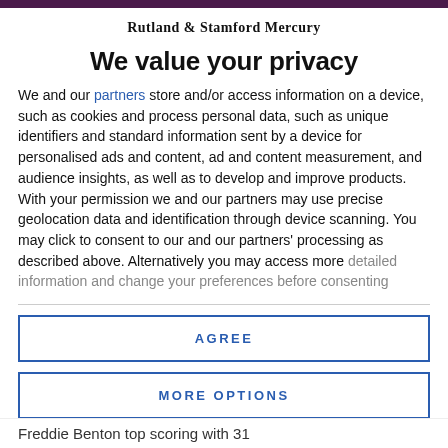Rutland & Stamford Mercury
We value your privacy
We and our partners store and/or access information on a device, such as cookies and process personal data, such as unique identifiers and standard information sent by a device for personalised ads and content, ad and content measurement, and audience insights, as well as to develop and improve products. With your permission we and our partners may use precise geolocation data and identification through device scanning. You may click to consent to our and our partners' processing as described above. Alternatively you may access more detailed information and change your preferences before consenting
AGREE
MORE OPTIONS
Freddie Benton top scoring with 31